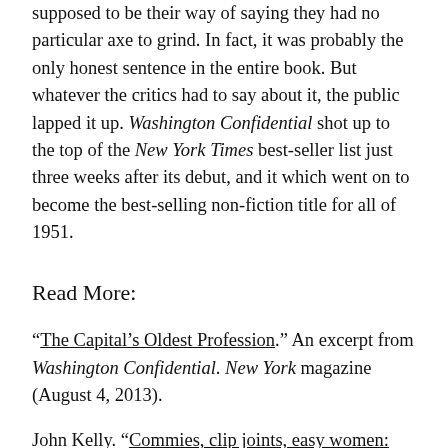supposed to be their way of saying they had no particular axe to grind. In fact, it was probably the only honest sentence in the entire book. But whatever the critics had to say about it, the public lapped it up. Washington Confidential shot up to the top of the New York Times best-seller list just three weeks after its debut, and it which went on to become the best-selling non-fiction title for all of 1951.
Read More:
“The Capital’s Oldest Profession.” An excerpt from Washington Confidential. New York magazine (August 4, 2013).
John Kelly. “Commies, clip joints, easy women: The world of ‘Washington Confidential’.” Washington Post (January 9, 2016).